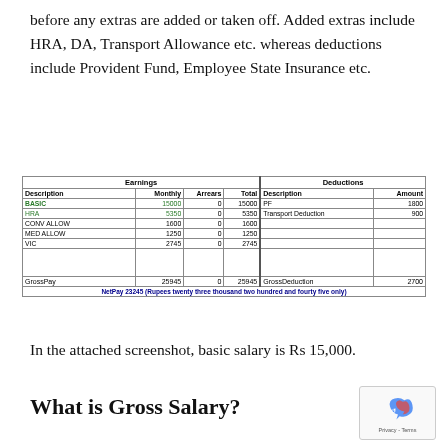before any extras are added or taken off. Added extras include HRA, DA, Transport Allowance etc. whereas deductions include Provident Fund, Employee State Insurance etc.
[Figure (screenshot): Salary slip table showing Earnings (Description, Monthly, Arrears, Total) and Deductions (Description, Amount). Earnings rows: BASIC 15000/0/15000, HRA 5350/0/5350, CONV ALLOW 1600/0/1600, MED ALLOW 1250/0/1250, VIC 2745/0/2745. GrossPay 25945/0/25945. Deductions: PF 1800, Transport Deduction 900. GrossDeduction 2700. NetPay 23245 (Rupees twenty three thousand two hundred and fourty five only). Genpact watermark visible.]
In the attached screenshot, basic salary is Rs 15,000.
What is Gross Salary?